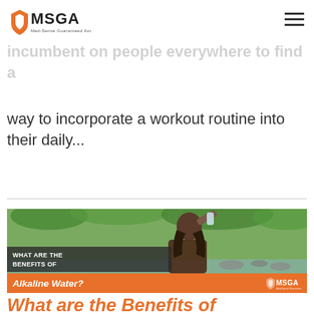[Figure (logo): MSGA Med-Sense Guaranteed Association logo with orange shield icon]
United States, obesity continues to be a challenge. Because of this, it is incumbent on people everywhere to find a way to incorporate a workout routine into their daily...
[Figure (illustration): Article card image: woman drinking from water bottle outdoors near stream with trees. Text overlay reads 'WHAT ARE THE BENEFITS OF Alkaline Water?' with MSGA logo on orange banner.]
What are the Benefits of